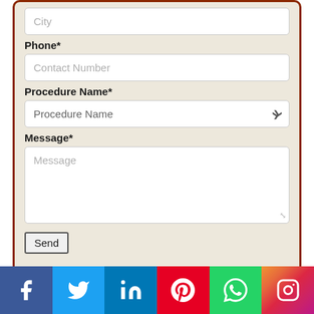City
Phone*
Contact Number
Procedure Name*
Procedure Name
Message*
Message
Send
Categories
[Figure (infographic): Social media icon bar with Facebook, Twitter, LinkedIn, Pinterest, WhatsApp, Instagram icons]